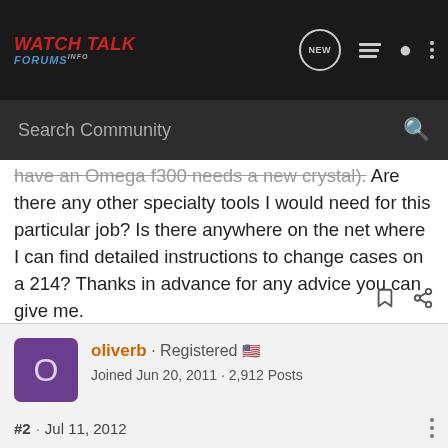WATCH TALK FORUMS INFO
have an Omega f300 needs a new crystal). Are there any other specialty tools I would need for this particular job? Is there anywhere on the net where I can find detailed instructions to change cases on a 214? Thanks in advance for any advice you can give me.

Thanx,
capt-zero
oliverb · Registered
Joined Jun 20, 2011 · 2,912 Posts
#2 · Jul 11, 2012